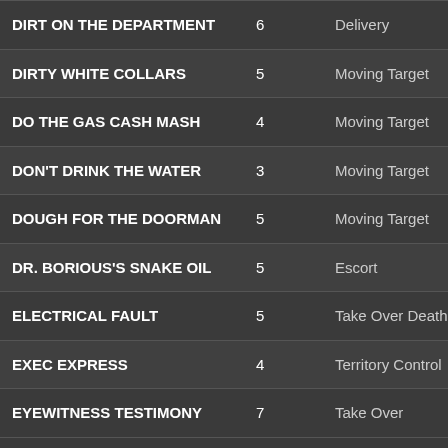| Mission | Rating | Type |
| --- | --- | --- |
| DIRT ON THE DEPARTMENT | 6 | Delivery |
| DIRTY WHITE COLLARS | 5 | Moving Target |
| DO THE GAS CASH MASH | 4 | Moving Target |
| DON'T DRINK THE WATER | 3 | Moving Target |
| DOUGH FOR THE DOORMAN | 5 | Moving Target |
| DR. BORIOUS'S SNAKE OIL | 5 | Escort |
| ELECTRICAL FAULT | 5 | Take Over Deathmatch |
| EXEC EXPRESS | 4 | Territory Control |
| EYEWITNESS TESTIMONY | 7 | Take Over |